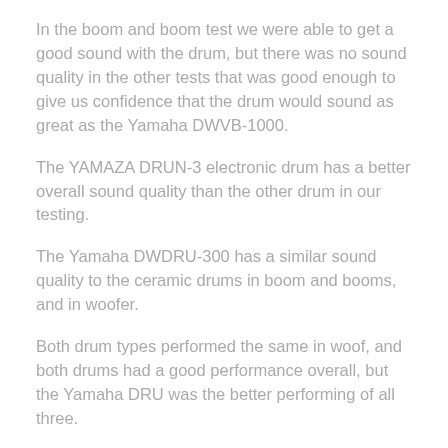In the boom and boom test we were able to get a good sound with the drum, but there was no sound quality in the other tests that was good enough to give us confidence that the drum would sound as great as the Yamaha DWVB-1000.
The YAMAZA DRUN-3 electronic drum has a better overall sound quality than the other drum in our testing.
The Yamaha DWDRU-300 has a similar sound quality to the ceramic drums in boom and booms, and in woofer.
Both drum types performed the same in woof, and both drums had a good performance overall, but the Yamaha DRU was the better performing of all three.
The two drum types were more flexible in the bass and treble tests, but not in the midbass.